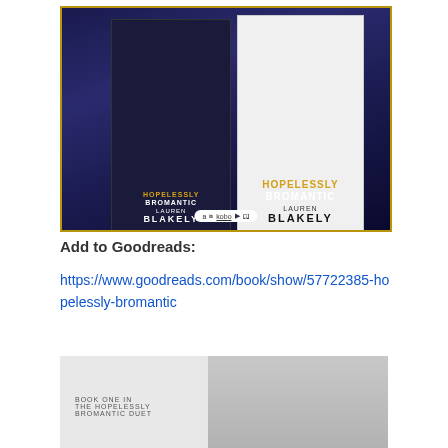[Figure (illustration): Book cover promotional image for 'Hopelessly Bromantic' by Lauren Blakely, showing both the ebook (tablet) and print versions side by side against a dark blue cityscape background with gold border. Retailer platform icons at the bottom (Amazon, Nook, Kobo, Audible, etc.).]
Add to Goodreads:
https://www.goodreads.com/book/show/57722385-hopelessly-bromantic
[Figure (illustration): Book promotional banner showing 'Book One in The Hopelessly Bromantic Duet' with a person in the background on a grey background.]